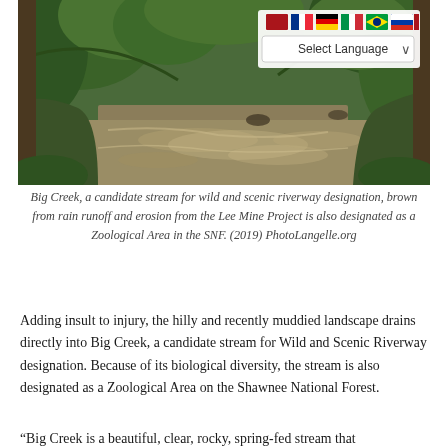[Figure (photo): Photograph of Big Creek, a muddy brown stream surrounded by dense green trees and vegetation, with greenery on both banks.]
Big Creek, a candidate stream for wild and scenic riverway designation, brown from rain runoff and erosion from the Lee Mine Project is also designated as a Zoological Area in the SNF. (2019) PhotoLangelle.org
Adding insult to injury, the hilly and recently muddied landscape drains directly into Big Creek, a candidate stream for Wild and Scenic Riverway designation. Because of its biological diversity, the stream is also designated as a Zoological Area on the Shawnee National Forest.
“Big Creek is a beautiful, clear, rocky, spring-fed stream that